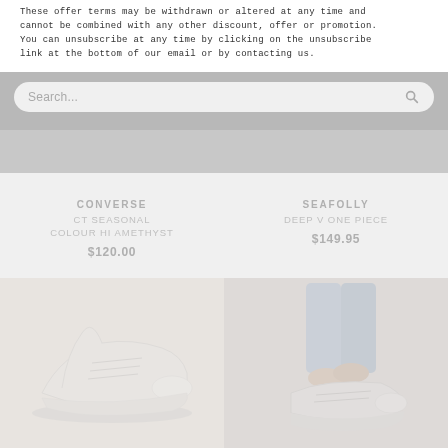These offer terms may be withdrawn or altered at any time and cannot be combined with any other discount, offer or promotion. You can unsubscribe at any time by clicking on the unsubscribe link at the bottom of our email or by contacting us.
[Figure (screenshot): Search bar with placeholder text 'Search...' and magnifying glass icon on a grey rounded rectangle background]
CONVERSE
CT SEASONAL COLOUR HI AMETHYST
$120.00
SEAFOLLY
DEEP V ONE PIECE
$149.95
[Figure (photo): Faded/washed out photo of white Converse sneakers laid flat]
[Figure (photo): Faded/washed out photo of a person tying white sneakers, wearing blue jeans]